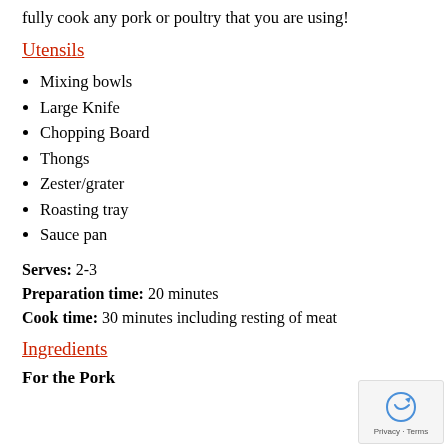fully cook any pork or poultry that you are using!
Utensils
Mixing bowls
Large Knife
Chopping Board
Thongs
Zester/grater
Roasting tray
Sauce pan
Serves: 2-3
Preparation time: 20 minutes
Cook time: 30 minutes including resting of meat
Ingredients
For the Pork